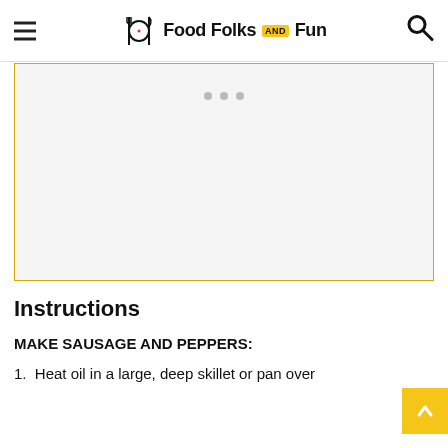Food Folks and Fun
[Figure (other): Advertisement placeholder box with three dots inside, yellow border]
Instructions
MAKE SAUSAGE AND PEPPERS:
1. Heat oil in a large, deep skillet or pan over